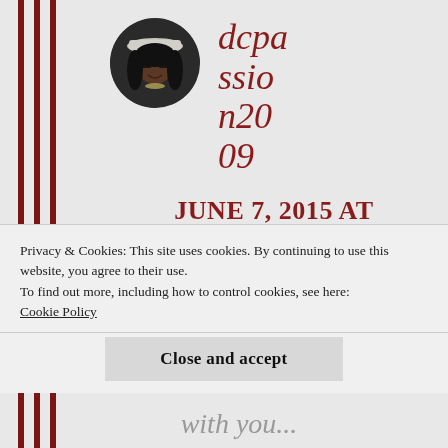[Figure (photo): Circular avatar photo of a woman wearing a white hat and sunglasses, smiling]
dcpassion2009
JUNE 7, 2015 AT 3:56 AM
Privacy & Cookies: This site uses cookies. By continuing to use this website, you agree to their use.
To find out more, including how to control cookies, see here: Cookie Policy
Close and accept